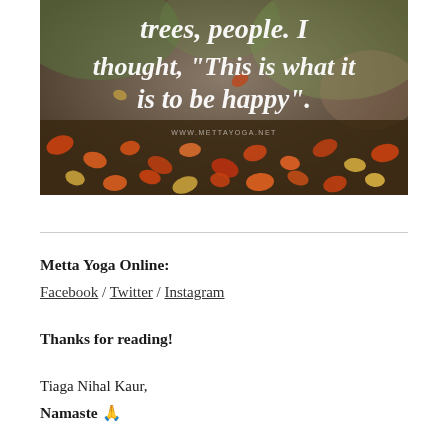[Figure (photo): An autumn-themed photo with fallen leaves on the ground and blurred bokeh background. White cursive script text reads: 'trees, people. I thought, "This is what it is to be happy".  www.mettayoga.net']
Metta Yoga Online:
Facebook / Twitter / Instagram
Thanks for reading!
Tiaga Nihal Kaur,
Namaste 🙏